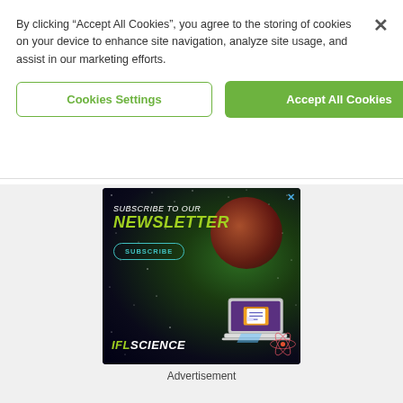By clicking “Accept All Cookies”, you agree to the storing of cookies on your device to enhance site navigation, analyze site usage, and assist in our marketing efforts.
Cookies Settings
Accept All Cookies
[Figure (infographic): IFLScience newsletter subscription advertisement with space/galaxy background featuring a planet, laptop with envelope graphic, atom icon, and text: SUBSCRIBE TO OUR NEWSLETTER with a SUBSCRIBE button and IFLSCIENCE logo]
Advertisement